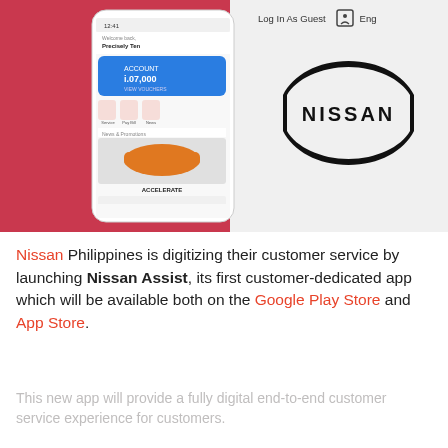[Figure (screenshot): Nissan Assist mobile app screenshot shown on a smartphone, displayed against a red background with the Nissan logo visible on the right panel. Top bar shows 'Log In As Guest' and language/chat icons.]
Nissan Philippines is digitizing their customer service by launching Nissan Assist, its first customer-dedicated app which will be available both on the Google Play Store and App Store.
This new app will provide a fully digital end-to-end customer service experience for customers.